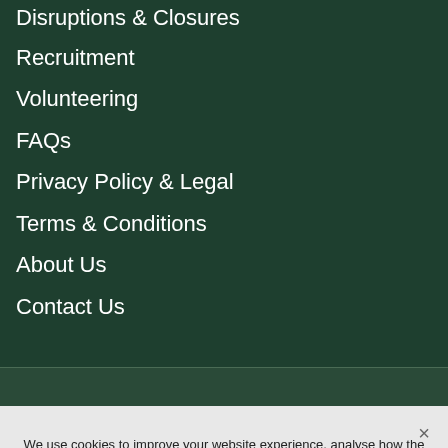Disruptions & Closures
Recruitment
Volunteering
FAQs
Privacy Policy & Legal
Terms & Conditions
About Us
Contact Us
We use cookies to improve your website experience, analyse how the site is being used, and tailor our advertising.